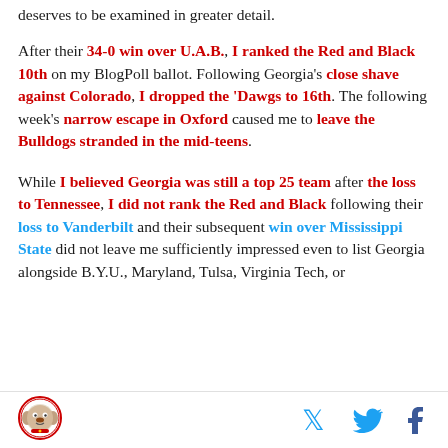deserves to be examined in greater detail.
After their 34-0 win over U.A.B., I ranked the Red and Black 10th on my BlogPoll ballot. Following Georgia's close shave against Colorado, I dropped the 'Dawgs to 16th. The following week's narrow escape in Oxford caused me to leave the Bulldogs stranded in the mid-teens.
While I believed Georgia was still a top 25 team after the loss to Tennessee, I did not rank the Red and Black following their loss to Vanderbilt and their subsequent win over Mississippi State did not leave me sufficiently impressed even to list Georgia alongside B.Y.U., Maryland, Tulsa, Virginia Tech, or
[Figure (logo): Circular logo with bulldog mascot]